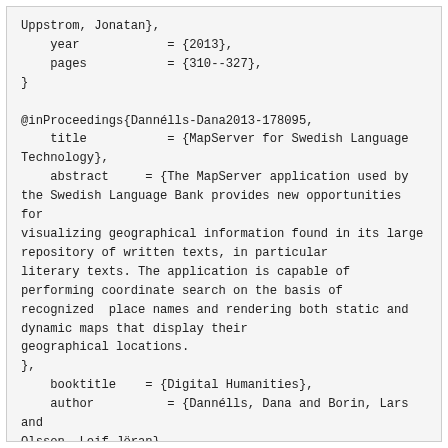Uppstrom, Jonatan},
    year            = {2013},
    pages           = {310--327},
}

@inProceedings{Dannélls-Dana2013-178095,
    title           = {MapServer for Swedish Language Technology},
    abstract     = {The MapServer application used by the Swedish Language Bank provides new opportunities for
visualizing geographical information found in its large repository of written texts, in particular literary texts. The application is capable of performing coordinate search on the basis of recognized  place names and rendering both static and dynamic maps that display their geographical locations.
},
    booktitle    = {Digital Humanities},
    author          = {Dannélls, Dana and Borin, Lars and Olsson, Leif-Jöran},
    year            = {2013},
}